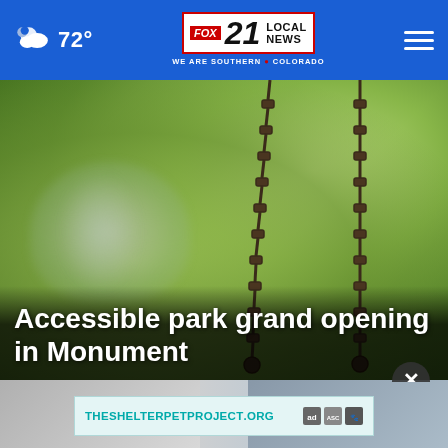FOX 21 LOCAL NEWS — WE ARE SOUTHERN COLORADO | 72°
[Figure (photo): Blurred photo of a playground swing with chains in foreground, two people (parent and child) blurred in background among green trees]
Accessible park grand opening in Monument
[Figure (infographic): Advertisement banner for THESHELTERPETPROJECT.ORG with ad council logos]